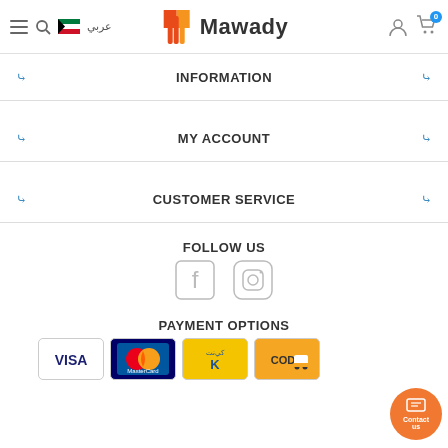Mawady — navigation header with hamburger menu, search, Kuwait flag, Arabic text, Mawady logo, user icon, and cart with 0 items
INFORMATION
MY ACCOUNT
CUSTOMER SERVICE
FOLLOW US
[Figure (illustration): Facebook and Instagram social media icons]
PAYMENT OPTIONS
[Figure (illustration): Payment method icons: Visa, MasterCard, KNET, COD with delivery truck]
[Figure (illustration): Orange Contact us button with chat icon]